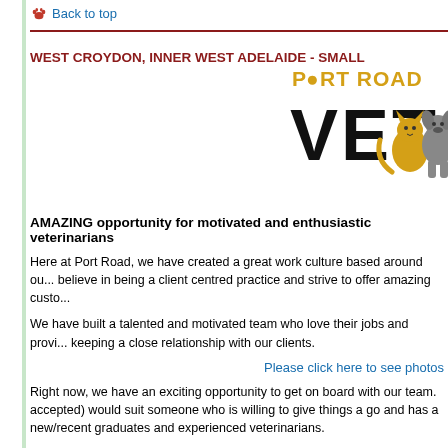Back to top
WEST CROYDON, INNER WEST ADELAIDE - SMALL
[Figure (logo): Port Road Vet logo with yellow text 'PORT ROAD' above large black bold text 'VET' with illustrated cat and dog silhouettes to the right]
AMAZING opportunity for motivated and enthusiastic veterinarians
Here at Port Road, we have created a great work culture based around ou... believe in being a client centred practice and strive to offer amazing custo...
We have built a talented and motivated team who love their jobs and provi... keeping a close relationship with our clients.
Please click here to see photos
Right now, we have an exciting opportunity to get on board with our team. accepted) would suit someone who is willing to give things a go and has a new/recent graduates and experienced veterinarians.
The clinic has a loyal and growing client base. We have lots of equipment W...